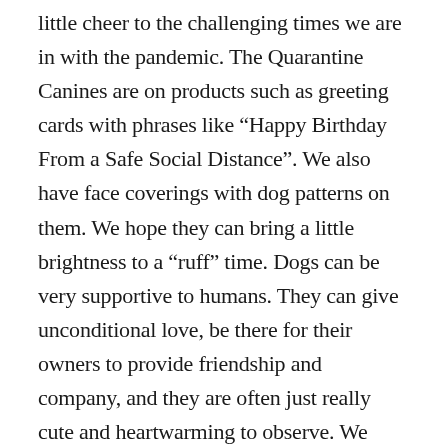little cheer to the challenging times we are in with the pandemic. The Quarantine Canines are on products such as greeting cards with phrases like “Happy Birthday From a Safe Social Distance”. We also have face coverings with dog patterns on them. We hope they can bring a little brightness to a “ruff” time. Dogs can be very supportive to humans. They can give unconditional love, be there for their owners to provide friendship and company, and they are often just really cute and heartwarming to observe. We hope the illustrated dog characters evoke these sentiments.